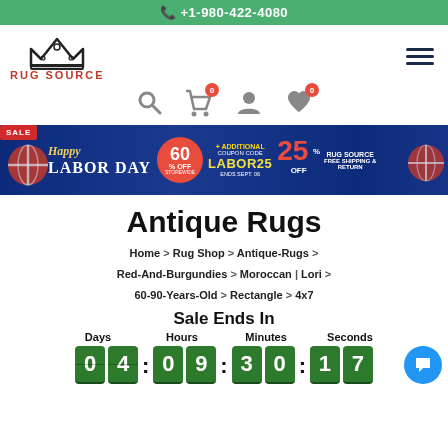+1-980-422-4080
[Figure (logo): Rug Source crown logo with text RUG SOURCE in red]
[Figure (infographic): Labor Day Sale banner: Happy Labor Day 60% off storewide, additional coupon code LABOR25 25% off, ends Sept 06, free shipping & return]
Antique Rugs
Home > Rug Shop > Antique-Rugs > Red-And-Burgundies > Moroccan | Lori > 60-90-Years-Old > Rectangle > 4x7
Sale Ends In
Days 04 : Hours 09 : Minutes 30 : Seconds 17